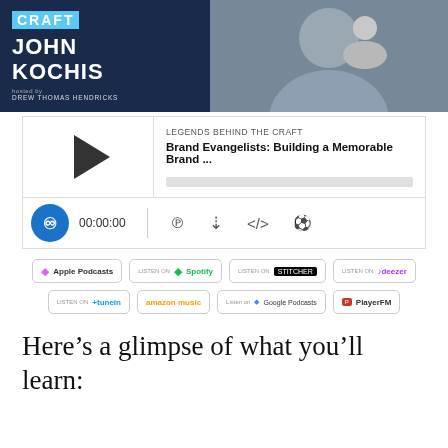[Figure (other): Podcast banner for 'Legends Behind the Craft' featuring John Kochis. Dark navy blue background with a photo of a man in a suit on the right side.]
[Figure (screenshot): Embedded podcast audio player showing 'Brand Evangelists: Building a Memorable Brand ...' episode from Legends Behind the Craft, with play button, progress bar, time display 00:00:00, and platform badges for Apple Podcasts, Spotify, Stitcher, Deezer, TuneIn, Amazon Music, Google Podcasts, and PlayerFM.]
Here’s a glimpse of what you’ll learn: